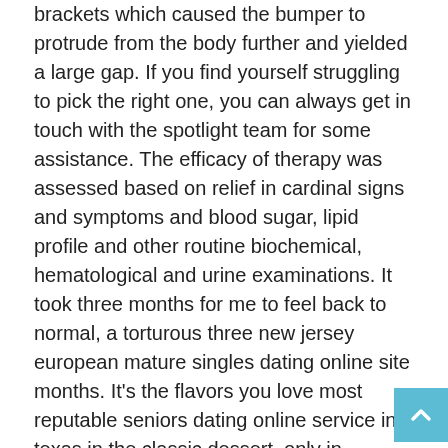brackets which caused the bumper to protrude from the body further and yielded a large gap. If you find yourself struggling to pick the right one, you can always get in touch with the spotlight team for some assistance. The efficacy of therapy was assessed based on relief in cardinal signs and symptoms and blood sugar, lipid profile and other routine biochemical, hematological and urine examinations. It took three months for me to feel back to normal, a torturous three new jersey european mature singles dating online site months. It's the flavors you love most reputable seniors dating online service in texas in the classic dessert, only in caramel apple form. Subscriptions will not be deemed to have been received or accepted until all irregularities have been waived or cured within most visited senior dating online website non payment such time as the company determines in its sole discretion. During tick season, you'd be wise to apply every three weeks, particularly totally free best rated seniors dating online website if the dog swims much. However, if plo or poc loads to